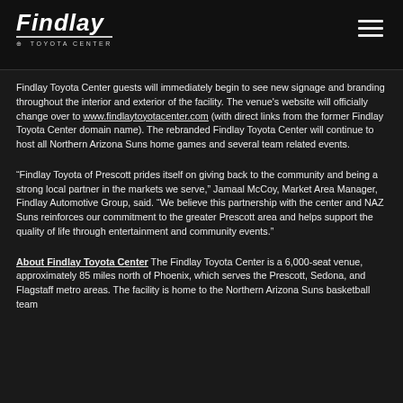Findlay Toyota Center
Findlay Toyota Center guests will immediately begin to see new signage and branding throughout the interior and exterior of the facility. The venue's website will officially change over to www.findlaytoyotacenter.com (with direct links from the former Findlay Toyota Center domain name). The rebranded Findlay Toyota Center will continue to host all Northern Arizona Suns home games and several team related events.
“Findlay Toyota of Prescott prides itself on giving back to the community and being a strong local partner in the markets we serve,” Jamaal McCoy, Market Area Manager, Findlay Automotive Group, said. “We believe this partnership with the center and NAZ Suns reinforces our commitment to the greater Prescott area and helps support the quality of life through entertainment and community events.”
About Findlay Toyota Center The Findlay Toyota Center is a 6,000-seat venue, approximately 85 miles north of Phoenix, which serves the Prescott, Sedona, and Flagstaff metro areas. The facility is home to the Northern Arizona Suns basketball team